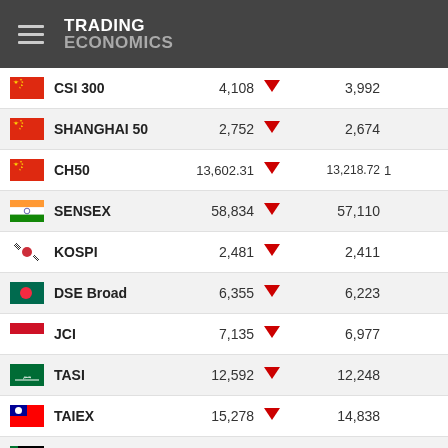TRADING ECONOMICS
| Flag | Index | Value |  | Previous |
| --- | --- | --- | --- | --- |
| CN | CSI 300 | 4,108 | ▼ | 3,992 |
| CN | SHANGHAI 50 | 2,752 | ▼ | 2,674 |
| CN | CH50 | 13,602.31 | ▼ | 13,218.72 |
| IN | SENSEX | 58,834 | ▼ | 57,110 |
| KR | KOSPI | 2,481 | ▼ | 2,411 |
| BD | DSE Broad | 6,355 | ▼ | 6,223 |
| ID | JCI | 7,135 | ▼ | 6,977 |
| SA | TASI | 12,592 | ▼ | 12,248 |
| TW | TAIEX | 15,278 | ▼ | 14,838 |
| AE | ADX General | 10,079 | ▼ | 9,828 |